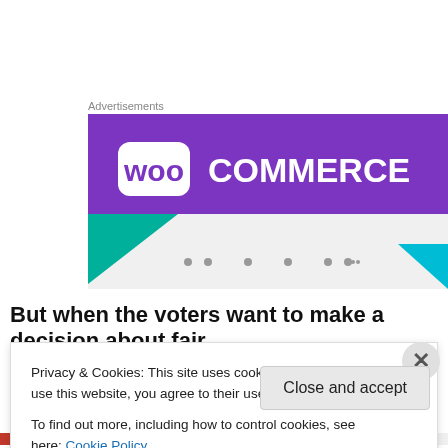Advertisements
[Figure (logo): WooCommerce advertisement banner with purple background, WooCommerce logo in white text, teal triangle in lower left and blue triangle in lower right, light gray lower section with partially visible text]
But when the voters want to make a decision about fair
[partially obscured text continues]
Privacy & Cookies: This site uses cookies. By continuing to use this website, you agree to their use.
To find out more, including how to control cookies, see here: Cookie Policy
Close and accept